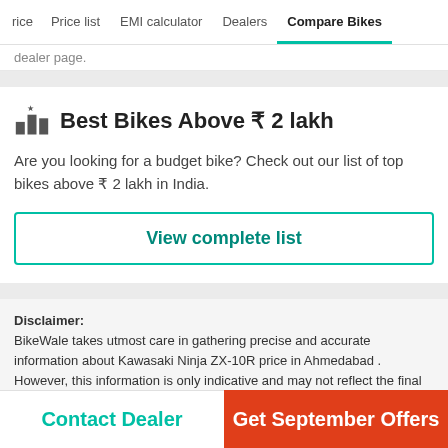rice | Price list | EMI calculator | Dealers | Compare Bikes
dealer page.
Best Bikes Above ₹ 2 lakh
Are you looking for a budget bike? Check out our list of top bikes above ₹ 2 lakh in India.
View complete list
Disclaimer: BikeWale takes utmost care in gathering precise and accurate information about Kawasaki Ninja ZX-10R price in Ahmedabad . However, this information is only indicative and may not reflect the final price you may pay. For more information please read terms and conditions, visitor agreement and privacy policy.
Contact Dealer | Get September Offers